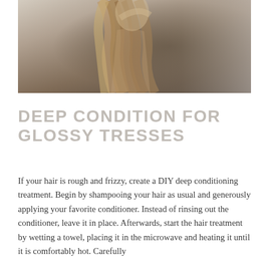[Figure (photo): A person with long straight brown/blonde hair holding it with both hands, photographed against a light gray background]
DEEP CONDITION FOR GLOSSY TRESSES
If your hair is rough and frizzy, create a DIY deep conditioning treatment. Begin by shampooing your hair as usual and generously applying your favorite conditioner. Instead of rinsing out the conditioner, leave it in place. Afterwards, start the hair treatment by wetting a towel, placing it in the microwave and heating it until it is comfortably hot. Carefully